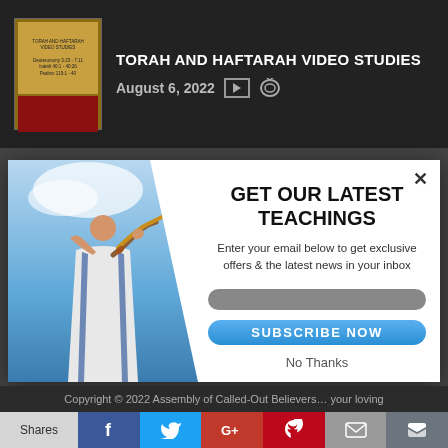TORAH AND HAFTARAH VIDEO STUDIES — August 6, 2022
[Figure (screenshot): Modal popup over webpage background showing a person blowing a shofar against a blue sky. Right side of modal has 'GET OUR LATEST TEACHINGS' heading, email subscription form, and Subscribe Now button.]
GET OUR LATEST TEACHINGS
Enter your email below to get exclusive offers & the latest news in your inbox
SUBSCRIBE NOW
No Thanks
Copyright © 2022 Assembly of Called-Out Believers… your loving
Shares